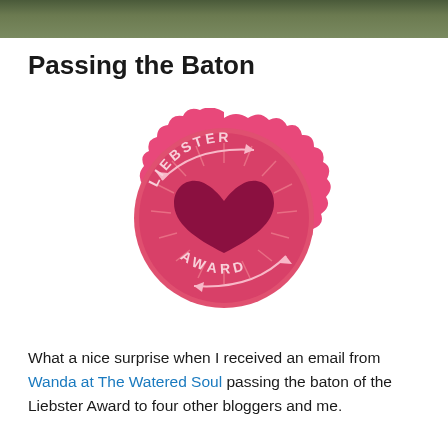Passing the Baton
[Figure (illustration): Liebster Award badge: a pink scalloped circle with a dark red heart in the center, radiating lines, an arrow wrapping around the circle, and the text 'LIEBSTER' across the top and 'AWARD' across the bottom.]
What a nice surprise when I received an email from Wanda at The Watered Soul passing the baton of the Liebster Award to four other bloggers and me.